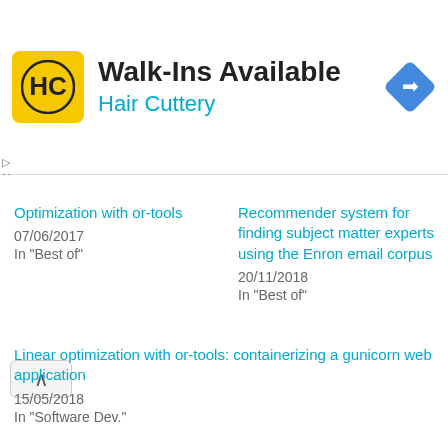[Figure (infographic): Hair Cuttery advertisement banner with HC logo on yellow background, Walk-Ins Available title, Hair Cuttery subtitle in teal, and a blue diamond direction arrow icon on the right]
Optimization with or-tools
07/06/2017
In "Best of"
Recommender system for finding subject matter experts using the Enron email corpus
20/11/2018
In "Best of"
Linear optimization with or-tools: containerizing a gunicorn web application
15/05/2018
In "Software Dev."
About Daniel Pradilla
I'm a software architect and I help people solve their problems with technology. In this